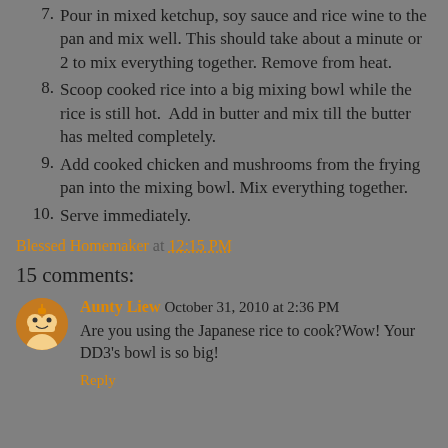7. Pour in mixed ketchup, soy sauce and rice wine to the pan and mix well. This should take about a minute or 2 to mix everything together. Remove from heat.
8. Scoop cooked rice into a big mixing bowl while the rice is still hot.  Add in butter and mix till the butter has melted completely.
9. Add cooked chicken and mushrooms from the frying pan into the mixing bowl. Mix everything together.
10. Serve immediately.
Blessed Homemaker at 12:15 PM
15 comments:
Aunty Liew October 31, 2010 at 2:36 PM
Are you using the Japanese rice to cook?Wow! Your DD3's bowl is so big!
Reply